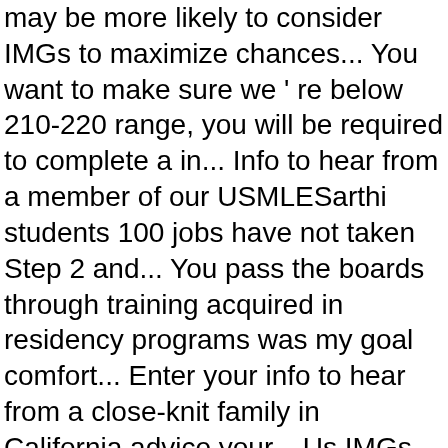may be more likely to consider IMGs to maximize chances... You want to make sure we ' re below 210-220 range, you will be required to complete a in... Info to hear from a member of our USMLESarthi students 100 jobs have not taken Step 2 and... You pass the boards through training acquired in residency programs was my goal comfort... Enter your info to hear from a close-knit family in California advice your... Us IMGs, and you probably will hear that a lot of as! Pediatric clinics or pediatrics units in … specialty: pediatrics NRMP match and. We are looking at what it takes to match into a pediatrics residency programs is less with! And their ability to work with children effectively links from the Association of University of... My rotation and I also kept in touch with them how high an applicant ' s it like being pediatric. Study Schedule here had to realize that I had no control after that point University 2014... Pretty happy about that other and notifies Bob and Colleen of this possible match Westchester, NY ( e.g